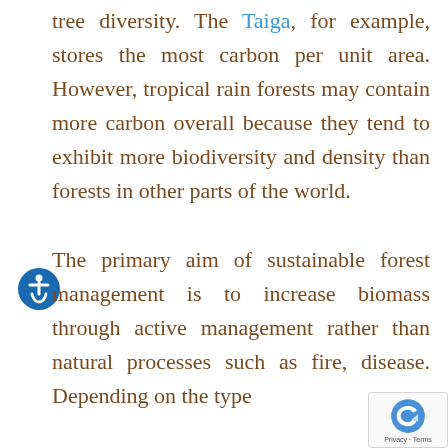tree diversity. The Taiga, for example, stores the most carbon per unit area. However, tropical rain forests may contain more carbon overall because they tend to exhibit more biodiversity and density than forests in other parts of the world.

The primary aim of sustainable forest management is to increase biomass through active management rather than natural processes such as fire, disease. Depending on the type